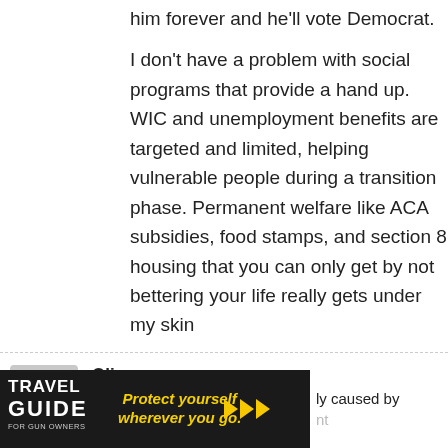him forever and he'll vote Democrat.
I don't have a problem with social programs that provide a hand up. WIC and unemployment benefits are targeted and limited, helping vulnerable people during a transition phase. Permanent welfare like ACA subsidies, food stamps, and section 8 housing that you can only get by not bettering your life really gets under my skin
Olivax
January 4, 2017 At 09:10
Urbanites should be restricted to One Child Per Parent, No Exceptions.
[Figure (photo): Travel Guide for Gun Owners advertisement banner with text 'Protect yourself wherever you go.' and play/arrow buttons, partially overlapping text 'ly caused by' and 'nt']